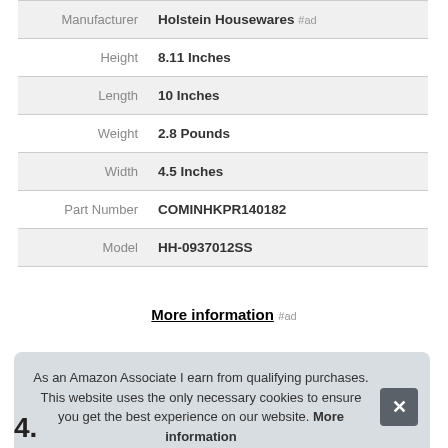| Attribute | Value |
| --- | --- |
| Manufacturer | Holstein Housewares #ad |
| Height | 8.11 Inches |
| Length | 10 Inches |
| Weight | 2.8 Pounds |
| Width | 4.5 Inches |
| Part Number | COMINHKPR140182 |
| Model | HH-0937012SS |
More information #ad
As an Amazon Associate I earn from qualifying purchases. This website uses the only necessary cookies to ensure you get the best experience on our website. More information